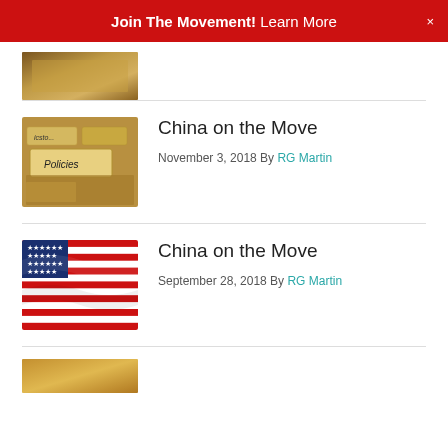Join The Movement! Learn More
[Figure (photo): Partial view of a folder/filing image at the top, cropped]
[Figure (photo): File folders with a tab labeled 'Policies']
China on the Move
November 3, 2018 By RG Martin
[Figure (photo): American flag waving]
China on the Move
September 28, 2018 By RG Martin
[Figure (photo): Partial image at the bottom, cropped]